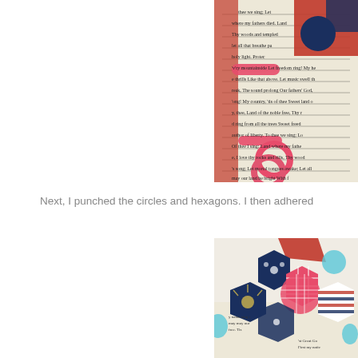[Figure (photo): Craft photo showing patriotic scrapbooking paper with song lyrics text, red tape/rings, and colorful patterned paper pieces in red, white, and navy blue]
Next, I punched the circles and hexagons. I then adhered
[Figure (photo): Craft photo showing hexagon patchwork pieces with patriotic patterns in red, white, and blue, including gingham, stars, and stripes patterns arranged together]